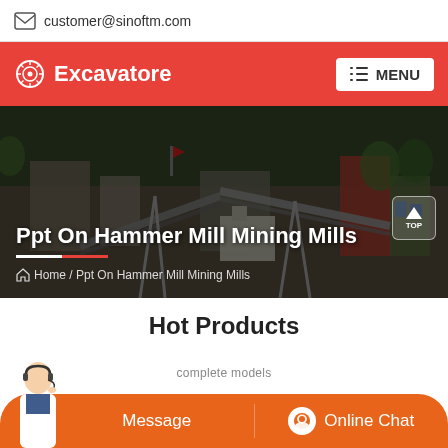customer@sinoftm.com
Excavatore
[Figure (screenshot): Mining/quarrying industrial facility aerial photo used as hero background image, showing conveyor belts, crushers, and processing equipment on a hillside site]
Ppt On Hammer Mill Mining Mills
Home / Ppt On Hammer Mill Mining Mills
Hot Products
complete models
Message
Online Chat